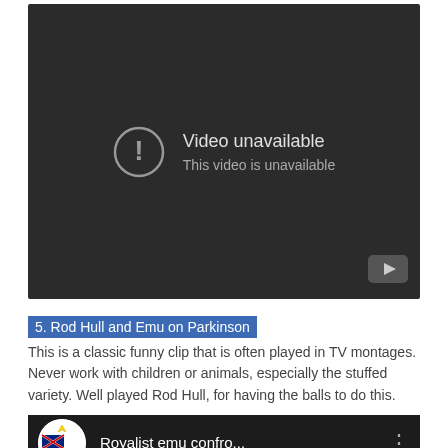[Figure (screenshot): YouTube video player showing 'Video unavailable' error message on dark background. An exclamation mark in a circle icon is shown with text 'Video unavailable' and 'This video is unavailable'. A YouTube play button icon appears in the bottom-right corner.]
5. Rod Hull and Emu on Parkinson
This is a classic funny clip that is often played in TV montages. Never work with children or animals, especially the stuffed variety. Well played Rod Hull, for having the balls to do this.
[Figure (screenshot): YouTube video thumbnail bar showing a channel avatar (Royalist logo with Australian flag) and partial video title 'Royalist emu confro...' with a three-dot menu icon on the right, on a dark background.]